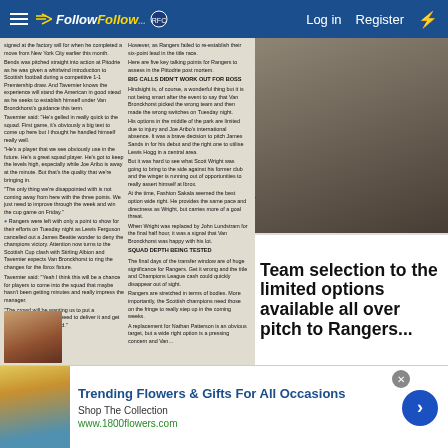FollowFollow — Log in  Register
[Figure (screenshot): Newspaper article scan showing Rangers football article with columns of text, photo of man in suit, and large bold pull quote: 'Team selection to the limited options available all over pitch to Rangers...']
Team selection to the limited options available all over pitch to Rangers...
[Figure (photo): Advertisement photo showing woman with flowers]
Trending Flowers & Gifts For All Occasions
Shop The Collection
www.1800flowers.com